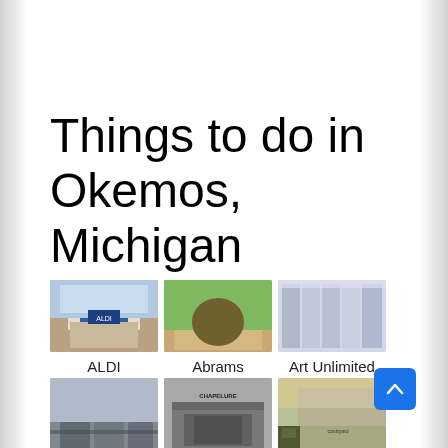Things to do in Okemos, Michigan
[Figure (photo): Photo of ALDI store exterior]
ALDI
[Figure (photo): Photo of Abrams Planetarium exterior]
Abrams Planetarium
[Figure (photo): Photo of Art Unlimited store interior]
Art Unlimited
[Figure (photo): Photo of Best Western Okemos/East parking lot]
Best Western Okemos/East
[Figure (photo): Photo of Chapelure store front]
Chapelure
[Figure (photo): Photo of Courtyard by Marriott East hotel exterior]
Courtyard by Marriott East